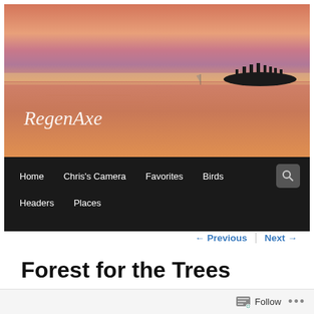[Figure (photo): Sunset/sunrise over calm water with island silhouette and 'RegenAxe' text in cursive script overlaid on the lower portion of the image]
Home  Chris's Camera  Favorites  Birds  [search]  Headers  Places
← Previous  Next →
Forest for the Trees
Posted on June 14, 2021
Follow ...